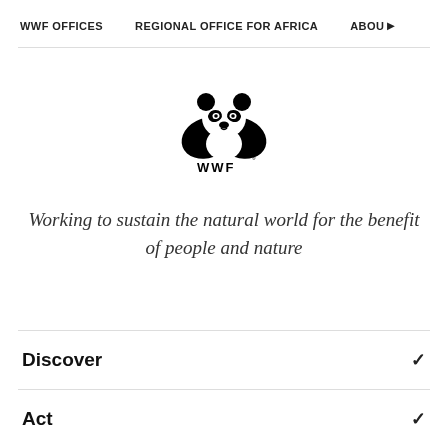WWF OFFICES   REGIONAL OFFICE FOR AFRICA   ABOUT
[Figure (logo): WWF panda logo with WWF text below]
Working to sustain the natural world for the benefit of people and nature
Discover
Act